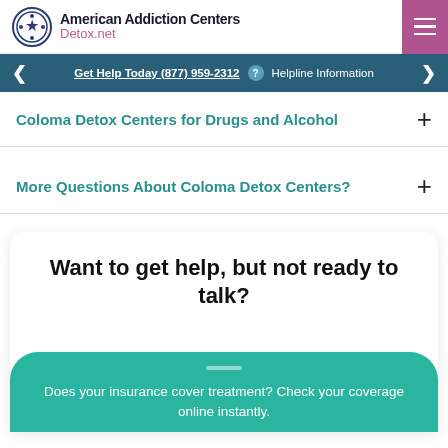American Addiction Centers Detox.net
Get Help Today (877) 959-2312 ? Helpline Information
Coloma Detox Centers for Drugs and Alcohol
More Questions About Coloma Detox Centers?
Want to get help, but not ready to talk?
Does your insurance cover treatment? Check your coverage online instantly.